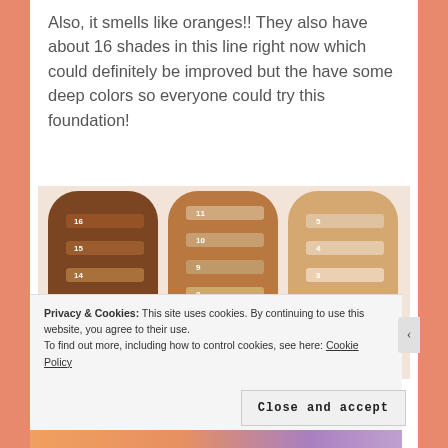Also, it smells like oranges!! They also have about 16 shades in this line right now which could definitely be improved but the have some deep colors so everyone could try this foundation!
[Figure (photo): Three arms of different skin tones (dark, medium, light) showing foundation swatches numbered 12-16 on the dark arm, 6-11 on the medium arm, and 1-5 on the light arm.]
Privacy & Cookies: This site uses cookies. By continuing to use this website, you agree to their use.
To find out more, including how to control cookies, see here: Cookie Policy
Close and accept